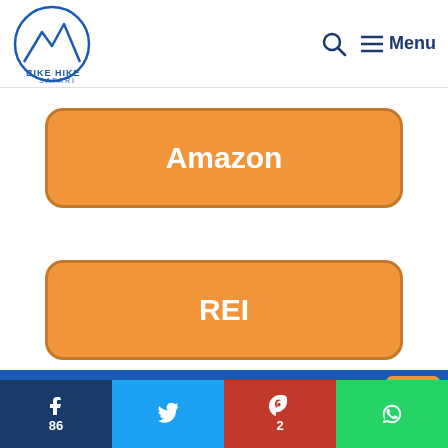BIKE HIKE SAFARI — Search | Menu
Amazon
REI
Best Tent Stake For Snow Camping
86 Facebook shares | Twitter | 2 Pinterest pins | WhatsApp